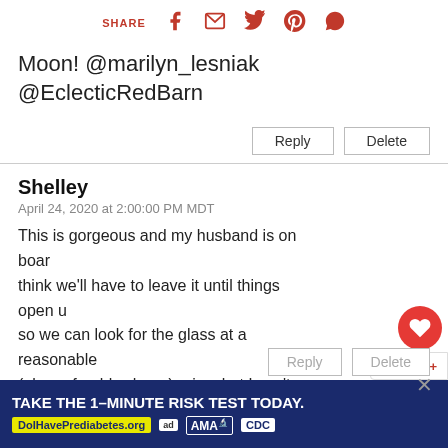SHARE [social icons: facebook, email, twitter, pinterest, whatsapp]
Moon! @marilyn_lesniak @EclecticRedBarn
Reply | Delete
Shelley
April 24, 2020 at 2:00:00 PM MDT
This is gorgeous and my husband is on board. I think we'll have to leave it until things open up so we can look for the glass at a reasonable (ok, preferably cheap) price, but I can't wait! Did you make your planters as well?
WHAT'S NEXT → Solar Plant Pot Water...
Reply | Delete
[Figure (infographic): Blue advertisement banner: TAKE THE 1-MINUTE RISK TEST TODAY. DoIHavePrediabetes.org with ad, AMA, and CDC logos]